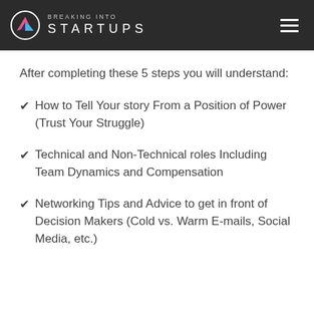BREAKING INTO STARTUPS
After completing these 5 steps you will understand:
How to Tell Your story From a Position of Power (Trust Your Struggle)
Technical and Non-Technical roles Including Team Dynamics and Compensation
Networking Tips and Advice to get in front of Decision Makers (Cold vs. Warm E-mails, Social Media, etc.)